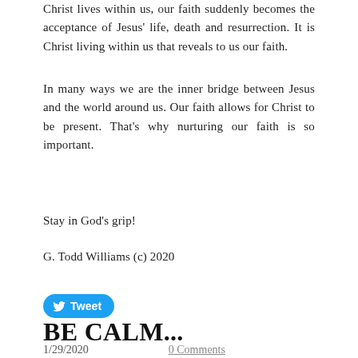Christ lives within us, our faith suddenly becomes the acceptance of Jesus' life, death and resurrection.  It is Christ living within us that reveals to us our faith.
In many ways we are the inner bridge between Jesus and the world around us.  Our faith allows for Christ to be present.  That's why nurturing our faith is so important.
Stay in God's grip!
G. Todd Williams (c) 2020
[Figure (other): Twitter Tweet button in blue rounded rectangle with bird icon]
BE CALM...
1/29/2020    0 Comments